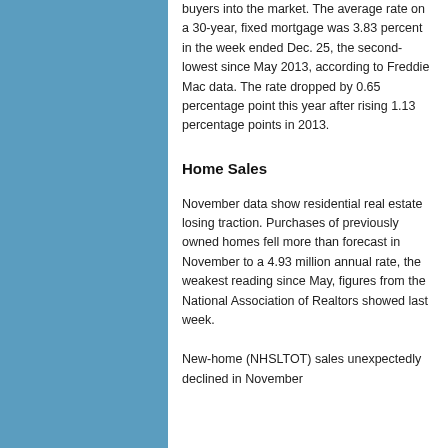buyers into the market. The average rate on a 30-year, fixed mortgage was 3.83 percent in the week ended Dec. 25, the second-lowest since May 2013, according to Freddie Mac data. The rate dropped by 0.65 percentage point this year after rising 1.13 percentage points in 2013.
Home Sales
November data show residential real estate losing traction. Purchases of previously owned homes fell more than forecast in November to a 4.93 million annual rate, the weakest reading since May, figures from the National Association of Realtors showed last week.
New-home (NHSLTOT) sales unexpectedly declined in November